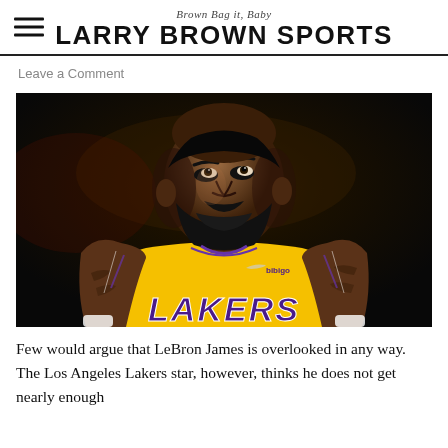Brown Bag it, Baby
LARRY BROWN SPORTS
Leave a Comment
[Figure (photo): LeBron James in a yellow Los Angeles Lakers jersey with purple lettering reading LAKERS and bibigo sponsor logo, looking upward against a dark background.]
Few would argue that LeBron James is overlooked in any way. The Los Angeles Lakers star, however, thinks he does not get nearly enough credit for some of his...